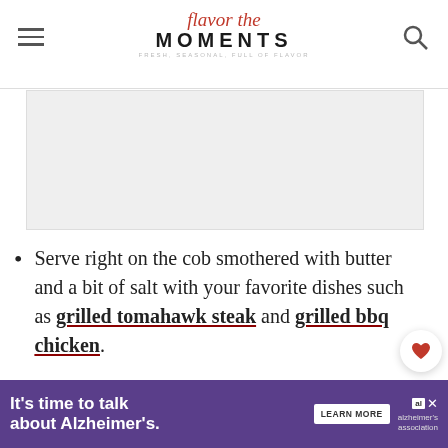flavor the MOMENTS
[Figure (other): Advertisement banner placeholder (gray box)]
Serve right on the cob smothered with butter and a bit of salt with your favorite dishes such as grilled tomahawk steak and grilled bbq chicken.
Cut off the cob and use in Mexican corn salad.
Prep a batch to use in recipes throughout the
[Figure (other): What's Next widget showing Air Fryer Corn on the Cob]
[Figure (other): Alzheimer's awareness advertisement banner at bottom]